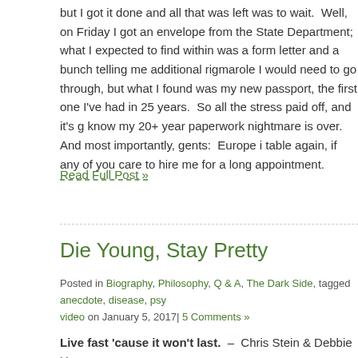but I got it done and all that was left was to wait.  Well, on Friday I got an envelope from the State Department; what I expected to find within was a form letter and a bunch of bureaucracy telling me additional rigmarole I would need to go through, but what I found was my new passport, the first one I've had in 25 years.  So all the stress paid off, and it's good to know my 20+ year paperwork nightmare is over.  And most importantly, gents:  Europe is back on the table again, if any of you care to hire me for a long appointment.
Read Full Post »
Die Young, Stay Pretty
Posted in Biography, Philosophy, Q & A, The Dark Side, tagged anecdote, disease, psy... video on January 5, 2017| 5 Comments »
Live fast 'cause it won't last.  –  Chris Stein & Debbie Harry
In Monday's column "Crystal-Gazing" I wrote, "I don't think it's likely I'll be around to see [the mid 2030s], but many of you will be."  Several readers asked me why I believed I wouldn't make it to that point; after all, I'd only have to live to 70, and the